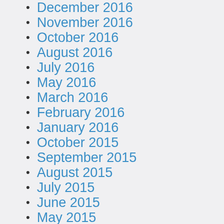December 2016
November 2016
October 2016
August 2016
July 2016
May 2016
March 2016
February 2016
January 2016
October 2015
September 2015
August 2015
July 2015
June 2015
May 2015
April 2015